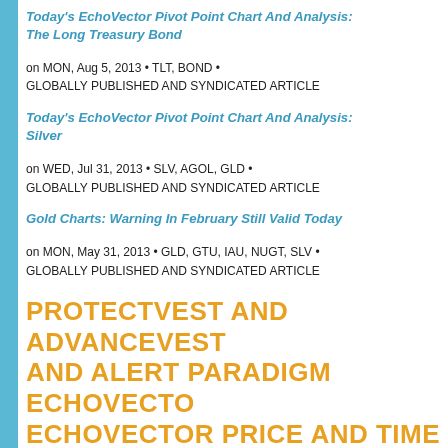Today's EchoVector Pivot Point Chart And Analysis: The Long Treasury Bond
on MON, Aug 5, 2013 • TLT, BOND • GLOBALLY PUBLISHED AND SYNDICATED ARTICLE
Today's EchoVector Pivot Point Chart And Analysis: Silver
on WED, Jul 31, 2013 • SLV, AGOL, GLD • GLOBALLY PUBLISHED AND SYNDICATED ARTICLE
Gold Charts: Warning In February Still Valid Today
on MON, May 31, 2013 • GLD, GTU, IAU, NUGT, SLV • GLOBALLY PUBLISHED AND SYNDICATED ARTICLE
PROTECTVEST AND ADVANCEVEST AND ALERT PARADIGM ECHOVECTOR ECHOVECTOR PRICE AND TIME PO ILLUSTRATION FRAMECHARTS AND OPEN, COVER, AND/OR POSITION PO ILLUSTRATIONS GUIDEMAPS
FRAMECHARTS AND GUIDEMAPS I GUIDE FOR